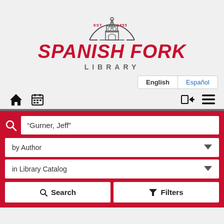[Figure (logo): Spanish Fork Library logo: a bell tower/cupola inside a circle arc, with 'EST. 1855' text]
SPANISH FORK
LIBRARY
English | Español
[Figure (screenshot): Navigation bar with home icon, calendar icon, login icon, and hamburger menu icon]
"Gurner, Jeff"
by Author
in Library Catalog
Search  Filters